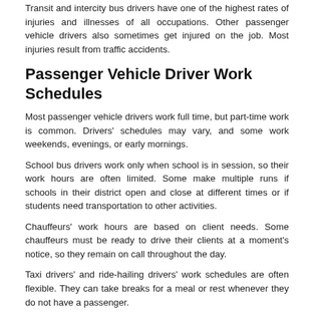Transit and intercity bus drivers have one of the highest rates of injuries and illnesses of all occupations. Other passenger vehicle drivers also sometimes get injured on the job. Most injuries result from traffic accidents.
Passenger Vehicle Driver Work Schedules
Most passenger vehicle drivers work full time, but part-time work is common. Drivers' schedules may vary, and some work weekends, evenings, or early mornings.
School bus drivers work only when school is in session, so their work hours are often limited. Some make multiple runs if schools in their district open and close at different times or if students need transportation to other activities.
Chauffeurs' work hours are based on client needs. Some chauffeurs must be ready to drive their clients at a moment's notice, so they remain on call throughout the day.
Taxi drivers' and ride-hailing drivers' work schedules are often flexible. They can take breaks for a meal or rest whenever they do not have a passenger.